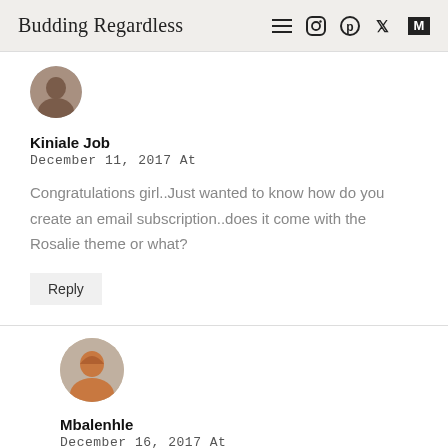Budding Regardless
[Figure (photo): Circular avatar photo of Kiniale Job, a person wearing glasses]
Kiniale Job
December 11, 2017 At
Congratulations girl..Just wanted to know how do you create an email subscription..does it come with the Rosalie theme or what?
Reply
[Figure (photo): Circular avatar photo of Mbalenhle, a person with auburn/red hair]
Mbalenhle
December 16, 2017 At
Customise your blog, click on Widgets and 'Follow